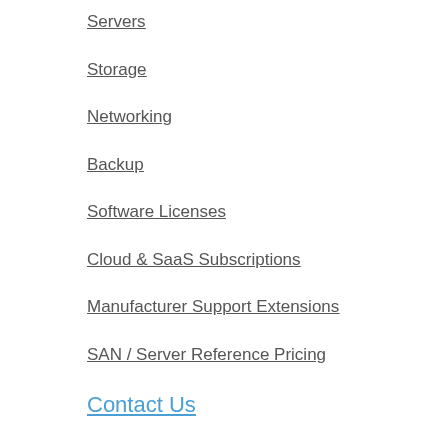Servers
Storage
Networking
Backup
Software Licenses
Cloud & SaaS Subscriptions
Manufacturer Support Extensions
SAN / Server Reference Pricing
Contact Us
Schedule
Call
Request for
Quotation
Get Services